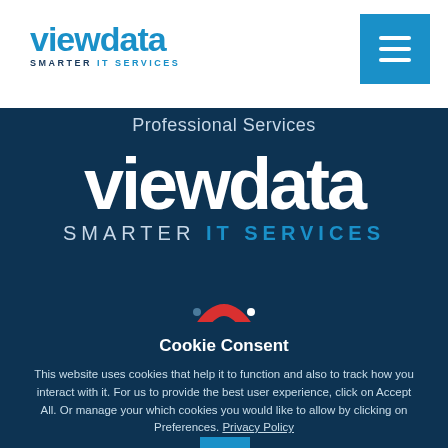[Figure (logo): Viewdata logo with 'SMARTER IT SERVICES' tagline in top-left of white header bar]
[Figure (illustration): Blue hamburger menu button in top-right corner of white header bar]
Professional Services
[Figure (logo): Large white Viewdata logo with 'SMARTER IT SERVICES' on dark blue background]
[Figure (illustration): Red phone/arc icon partially visible above cookie consent banner]
Cookie Consent
This website uses cookies that help it to function and also to track how you interact with it. For us to provide the best user experience, click on Accept All. Or manage your which cookies you would like to allow by clicking on Preferences. Privacy Policy